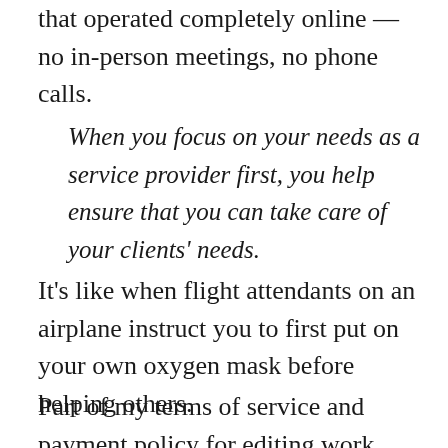that operated completely online — no in-person meetings, no phone calls.
When you focus on your needs as a service provider first, you help ensure that you can take care of your clients' needs.
It's like when flight attendants on an airplane instruct you to first put on your own oxygen mask before helping others.
Part of my terms of service and payment policy for editing work included: